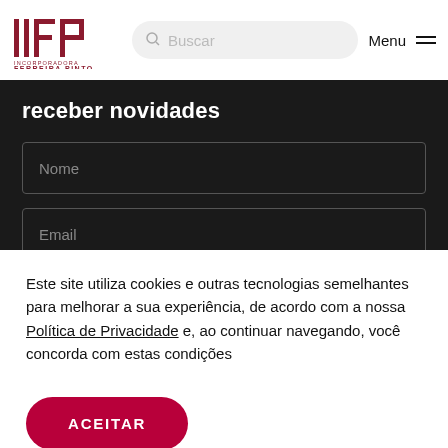[Figure (logo): Incorporadora Ferreira Pinto logo — stylized IFP letters in dark red/maroon with geometric shapes]
Buscar
Menu
receber novidades
Nome
Email
Este site utiliza cookies e outras tecnologias semelhantes para melhorar a sua experiência, de acordo com a nossa Política de Privacidade e, ao continuar navegando, você concorda com estas condições
ACEITAR